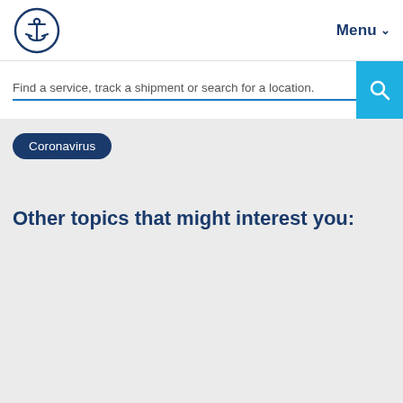Menu
Find a service, track a shipment or search for a location.
Coronavirus
Other topics that might interest you: